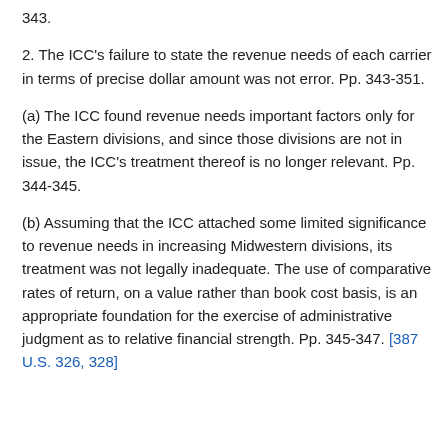343.
2. The ICC's failure to state the revenue needs of each carrier in terms of precise dollar amount was not error. Pp. 343-351.
(a) The ICC found revenue needs important factors only for the Eastern divisions, and since those divisions are not in issue, the ICC's treatment thereof is no longer relevant. Pp. 344-345.
(b) Assuming that the ICC attached some limited significance to revenue needs in increasing Midwestern divisions, its treatment was not legally inadequate. The use of comparative rates of return, on a value rather than book cost basis, is an appropriate foundation for the exercise of administrative judgment as to relative financial strength. Pp. 345-347. [387 U.S. 326, 328]